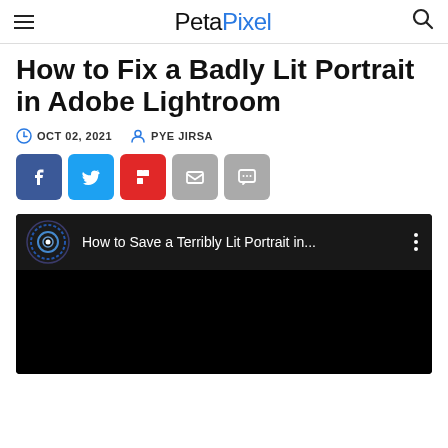PetaPixel
How to Fix a Badly Lit Portrait in Adobe Lightroom
OCT 02, 2021  PYE JIRSA
[Figure (screenshot): Social share buttons: Facebook, Twitter, Flipboard, Email, Comment]
[Figure (screenshot): YouTube video embed thumbnail showing 'How to Save a Terribly Lit Portrait in...' with YouTube channel logo on black background]